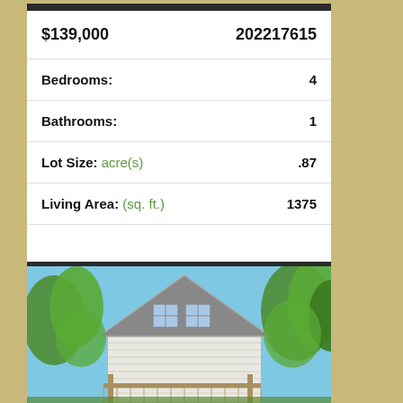| Field | Value |
| --- | --- |
| $139,000 | 202217615 |
| Bedrooms: | 4 |
| Bathrooms: | 1 |
| Lot Size: acre(s) | .87 |
| Living Area: (sq. ft.) | 1375 |
More about this Property
[Figure (photo): Exterior photo of a white two-story house with a steep gabled roof, two windows visible on upper level, trees surrounding the property, and a lattice pergola structure in the foreground.]